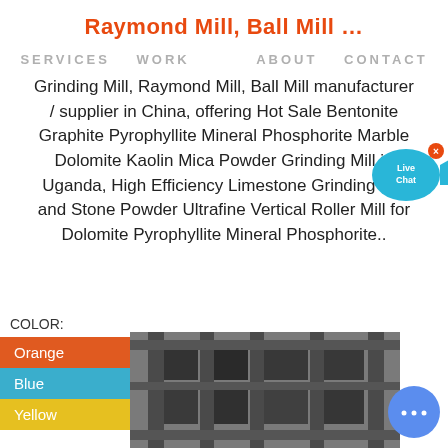Raymond Mill, Ball Mill …
SERVICES   WORK      ABOUT   CONTACT
Grinding Mill, Raymond Mill, Ball Mill manufacturer / supplier in China, offering Hot Sale Bentonite Graphite Pyrophyllite Mineral Phosphorite Marble Dolomite Kaolin Mica Powder Grinding Mill in Uganda, High Efficiency Limestone Grinding Mill and Stone Powder Ultrafine Vertical Roller Mill for Dolomite Pyrophyllite Mineral Phosphorite..
[Figure (infographic): Live Chat bubble icon in blue with text 'Live Chat' and a fish-shaped tail, with a small orange X button]
COLOR:
Orange
Blue
Yellow
[Figure (photo): Photo of industrial grinding mill equipment, grey metal machinery with structural frames]
[Figure (infographic): Circular blue chat button with three dots]